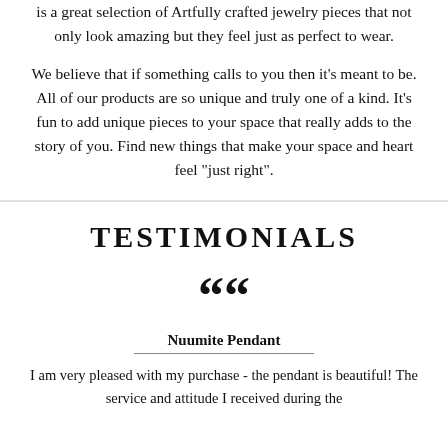is a great selection of Artfully crafted jewelry pieces that not only look amazing but they feel just as perfect to wear.
We believe that if something calls to you then it's meant to be. All of our products are so unique and truly one of a kind. It's fun to add unique pieces to your space that really adds to the story of you. Find new things that make your space and heart feel "just right".
TESTIMONIALS
““
Nuumite Pendant
I am very pleased with my purchase - the pendant is beautiful! The service and attitude I received during the